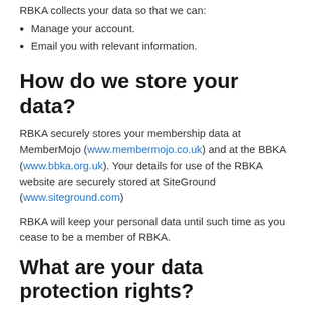RBKA collects your data so that we can:
Manage your account.
Email you with relevant information.
How do we store your data?
RBKA securely stores your membership data at MemberMojo (www.membermojo.co.uk) and at the BBKA (www.bbka.org.uk). Your details for use of the RBKA website are securely stored at SiteGround (www.siteground.com)
RBKA will keep your personal data until such time as you cease to be a member of RBKA.
What are your data protection rights?